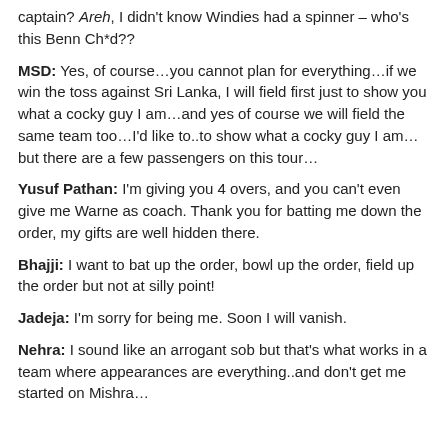captain? Areh, I didn't know Windies had a spinner – who's this Benn Ch*d??
MSD: Yes, of course…you cannot plan for everything…if we win the toss against Sri Lanka, I will field first just to show you what a cocky guy I am…and yes of course we will field the same team too…I'd like to..to show what a cocky guy I am…but there are a few passengers on this tour…
Yusuf Pathan: I'm giving you 4 overs, and you can't even give me Warne as coach. Thank you for batting me down the order, my gifts are well hidden there.
Bhajji: I want to bat up the order, bowl up the order, field up the order but not at silly point!
Jadeja: I'm sorry for being me. Soon I will vanish.
Nehra: I sound like an arrogant sob but that's what works in a team where appearances are everything..and don't get me started on Mishra…